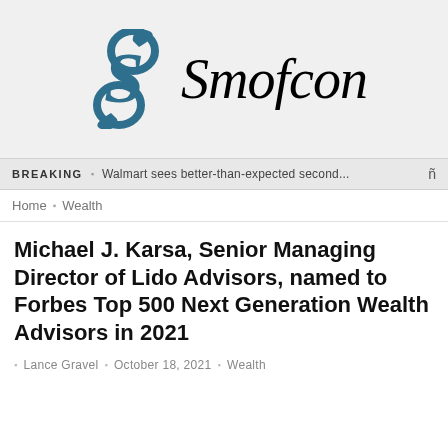[Figure (logo): Smofcon logo with a decorative S glyph in teal/dark blue and the word 'Smofcon' in italic serif font]
BREAKING  □  Walmart sees better-than-expected second...  🔍
Home  □  Wealth
Michael J. Karsa, Senior Managing Director of Lido Advisors, named to Forbes Top 500 Next Generation Wealth Advisors in 2021
□  Lance Gravel  □  October 18, 2021  □  Wealth